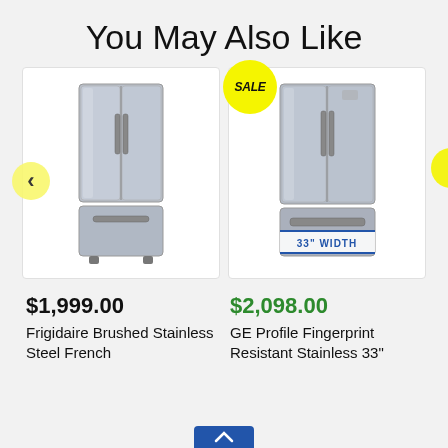You May Also Like
[Figure (photo): Frigidaire Brushed Stainless Steel French Door Refrigerator product image with left navigation arrow]
[Figure (photo): GE Profile Fingerprint Resistant Stainless 33" French Door Refrigerator product image with SALE badge, 33" WIDTH label, and right navigation arrow]
$1,999.00
Frigidaire Brushed Stainless Steel French
$2,098.00
GE Profile Fingerprint Resistant Stainless 33"